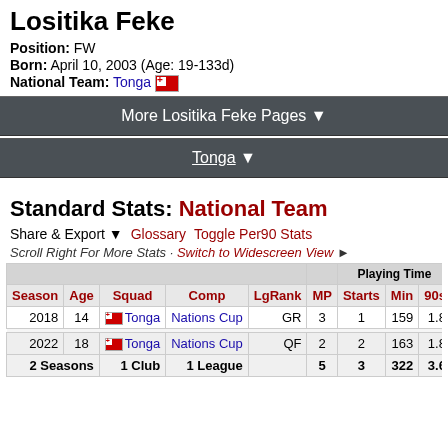Lositika Feke
Position: FW
Born: April 10, 2003 (Age: 19-133d)
National Team: Tonga
More Lositika Feke Pages ▼
Tonga ▼
Standard Stats: National Team
Share & Export ▼   Glossary   Toggle Per90 Stats
Scroll Right For More Stats · Switch to Widescreen View ►
| Season | Age | Squad | Comp | LgRank | MP | Starts | Min | 90s | Gls | As |
| --- | --- | --- | --- | --- | --- | --- | --- | --- | --- | --- |
| 2018 | 14 | Tonga | Nations Cup | GR | 3 | 1 | 159 | 1.8 | 0 |  |
| 2022 | 18 | Tonga | Nations Cup | QF | 2 | 2 | 163 | 1.8 | 0 |  |
| 2 Seasons |  | 1 Club | 1 League |  | 5 | 3 | 322 | 3.6 | 0 |  |